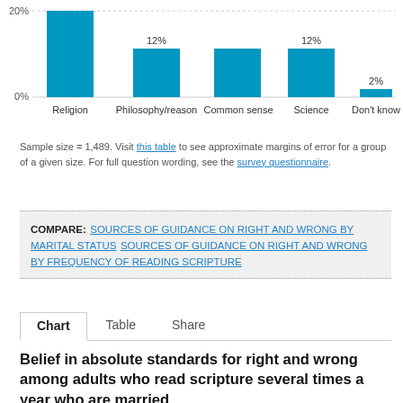[Figure (bar-chart): Sources of guidance on right and wrong]
Sample size = 1,489. Visit this table to see approximate margins of error for a group of a given size. For full question wording, see the survey questionnaire.
COMPARE: SOURCES OF GUIDANCE ON RIGHT AND WRONG BY MARITAL STATUS   SOURCES OF GUIDANCE ON RIGHT AND WRONG BY FREQUENCY OF READING SCRIPTURE
Chart   Table   Share
Belief in absolute standards for right and wrong among adults who read scripture several times a year who are married